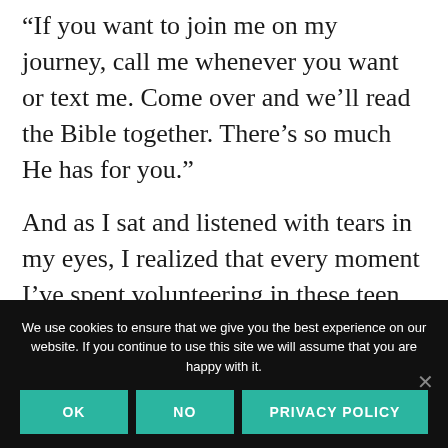“If you want to join me on my journey, call me whenever you want or text me. Come over and we’ll read the Bible together. There’s so much He has for you.”
And as I sat and listened with tears in my eyes, I realized that every moment I’ve spent volunteering in these teen mom support groups was worth it. It was worth it because Liz is worth it . . . and so is every
We use cookies to ensure that we give you the best experience on our website. If you continue to use this site we will assume that you are happy with it.